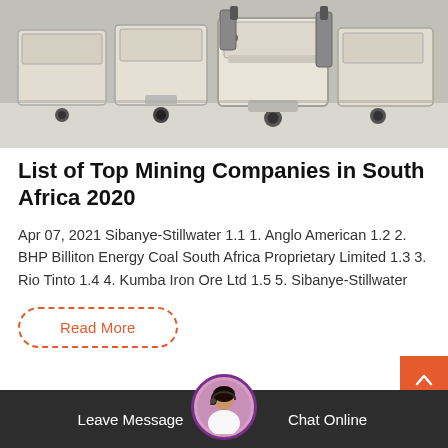[Figure (photo): Industrial mining equipment / machines (jaw crushers or similar heavy machinery) lined up on a factory floor, cream/beige colored with metal fittings]
List of Top Mining Companies in South Africa 2020
Apr 07, 2021 Sibanye-Stillwater 1.1 1. Anglo American 1.2 2. BHP Billiton Energy Coal South Africa Proprietary Limited 1.3 3. Rio Tinto 1.4 4. Kumba Iron Ore Ltd 1.5 5. Sibanye-Stillwater
Read More
Leave Message  Chat Online